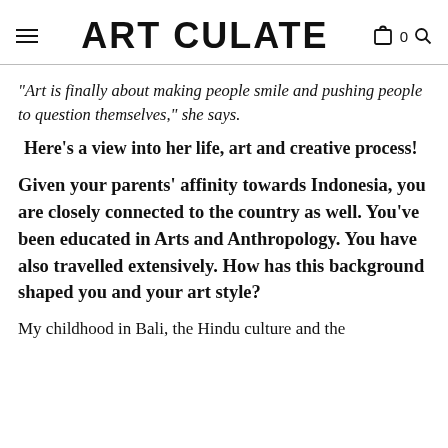ART CULATE
“Art is finally about making people smile and pushing people to question themselves,” she says.
Here’s a view into her life, art and creative process!
Given your parents’ affinity towards Indonesia, you are closely connected to the country as well. You’ve been educated in Arts and Anthropology. You have also travelled extensively. How has this background shaped you and your art style?
My childhood in Bali, the Hindu culture and the